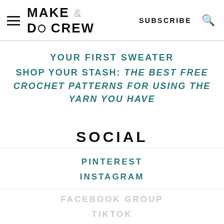MAKE & DO CREW | SUBSCRIBE
YOUR FIRST SWEATER
SHOP YOUR STASH: THE BEST FREE CROCHET PATTERNS FOR USING THE YARN YOU HAVE
SOCIAL
PINTEREST
INSTAGRAM
FACEBOOK GROUP
TIKTOK